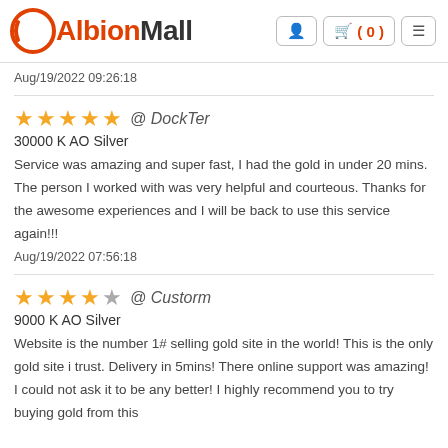AlbionMall
Aug/19/2022 09:26:18
★★★★★ @ DockTer
30000 K AO Silver
Service was amazing and super fast, I had the gold in under 20 mins. The person I worked with was very helpful and courteous. Thanks for the awesome experiences and I will be back to use this service again!!!
Aug/19/2022 07:56:18
★★★★☆ @ Custorm
9000 K AO Silver
Website is the number 1# selling gold site in the world! This is the only gold site i trust. Delivery in 5mins! There online support was amazing! I could not ask it to be any better! I highly recommend you to try buying gold from this